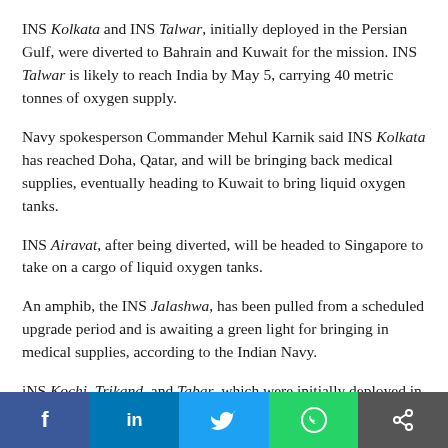INS Kolkata and INS Talwar, initially deployed in the Persian Gulf, were diverted to Bahrain and Kuwait for the mission. INS Talwar is likely to reach India by May 5, carrying 40 metric tonnes of oxygen supply.
Navy spokesperson Commander Mehul Karnik said INS Kolkata has reached Doha, Qatar, and will be bringing back medical supplies, eventually heading to Kuwait to bring liquid oxygen tanks.
INS Airavat, after being diverted, will be headed to Singapore to take on a cargo of liquid oxygen tanks.
An amphib, the INS Jalashwa, has been pulled from a scheduled upgrade period and is awaiting a green light for bringing in medical supplies, according to the Indian Navy.
iNS Kochi, Trikand, and Tabar, which were initially deployed in the Arabian Sea, have also received
[Figure (other): Social media share buttons: Facebook, LinkedIn, Twitter, WhatsApp, and a share button]